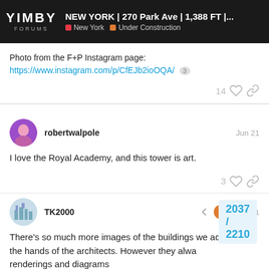YIMBY FORUMS — NEW YORK | 270 Park Ave | 1,388 FT |... — New York | Under Construction
Photo from the F+P Instagram page:
https://www.instagram.com/p/CfEJb2ioOQA/ 3
14 ♡ 🔗
robertwalpole — Jun 21
I love the Royal Academy, and this tower is art.
3 ♡ 🔗
TK2000 — Jun 21
There's so much more images of the buildings we admire in the hands of the architects. However they alwa renderings and diagrams
2037 / 2210